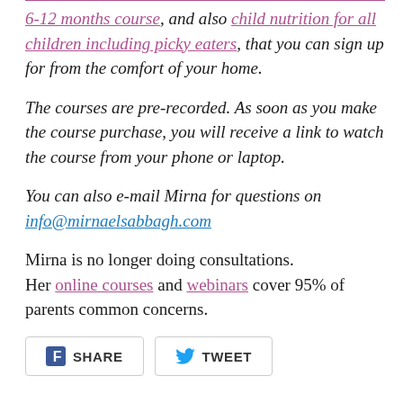6-12 months course, and also child nutrition for all children including picky eaters, that you can sign up for from the comfort of your home.
The courses are pre-recorded. As soon as you make the course purchase, you will receive a link to watch the course from your phone or laptop.
You can also e-mail Mirna for questions on info@mirnaelsabbagh.com
Mirna is no longer doing consultations. Her online courses and webinars cover 95% of parents common concerns.
[Figure (other): Social share buttons: Facebook SHARE and Twitter TWEET]